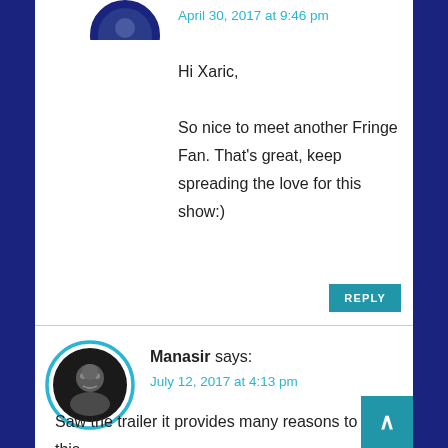[Figure (photo): Circular avatar image with blue border, partially visible at top]
April 30, 2017 at 9:46 pm
Hi Xaric,

So nice to meet another Fringe Fan. That's great, keep spreading the love for this show:)
REPLY
[Figure (photo): Circular avatar photo of Manasir with teal/cyan border]
Manasir says:
July 12, 2017 at 4:13 pm
Saw the trailer it provides many reasons to see this